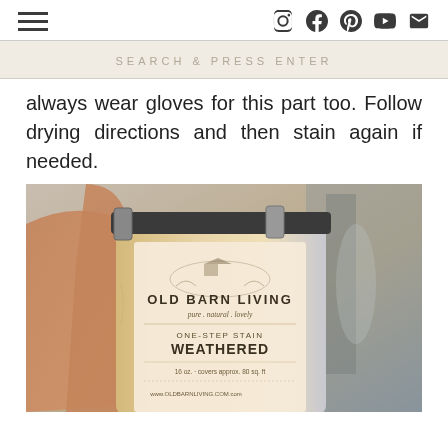Navigation and social icons header
SEARCH & PRESS ENTER
always wear gloves for this part too. Follow drying directions and then stain again if needed.
[Figure (photo): Hand holding a can of Old Barn Living One-Step Stain in color Weathered. The label shows 'OLD BARN LIVING pure. natural. lovely. ONE-STEP STAIN WEATHERED 16 oz. covers approx. 80 sq. ft. www.OLDBARNLIVING.COM.com']